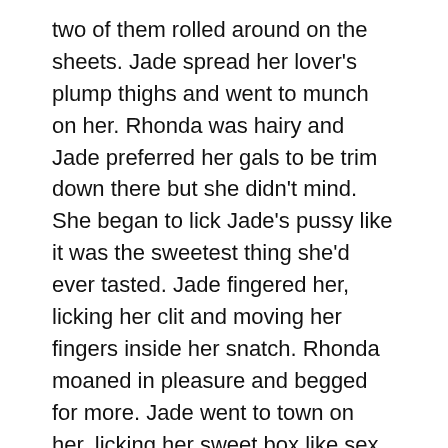two of them rolled around on the sheets. Jade spread her lover's plump thighs and went to munch on her. Rhonda was hairy and Jade preferred her gals to be trim down there but she didn't mind. She began to lick Jade's pussy like it was the sweetest thing she'd ever tasted. Jade fingered her, licking her clit and moving her fingers inside her snatch. Rhonda moaned in pleasure and begged for more. Jade went to town on her, licking her sweet box like sex was going out of style. Later, they lay entwined in each other's arms.
This was the beginning of several nightly encounters between Jade canlı bahis and Rhonda. Jade was really into this fiery plump dyke who had the sweetest box she'd ever licked and talked dirty during sex. You'd sit and marvel at how she lost herself